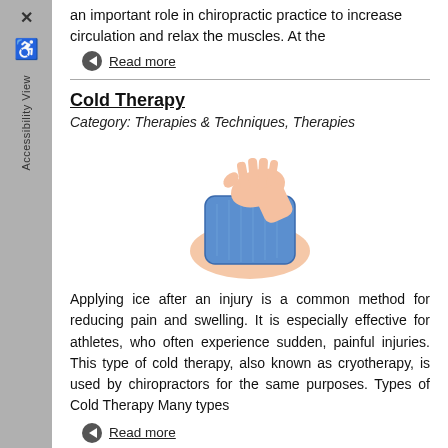an important role in chiropractic practice to increase circulation and relax the muscles. At the
Read more
Cold Therapy
Category: Therapies & Techniques, Therapies
[Figure (photo): A hand applying a blue ice/cold pack to a knee or leg]
Applying ice after an injury is a common method for reducing pain and swelling. It is especially effective for athletes, who often experience sudden, painful injuries. This type of cold therapy, also known as cryotherapy, is used by chiropractors for the same purposes. Types of Cold Therapy Many types
Read more